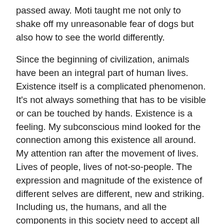passed away. Moti taught me not only to shake off my unreasonable fear of dogs but also how to see the world differently.
Since the beginning of civilization, animals have been an integral part of human lives. Existence itself is a complicated phenomenon. It's not always something that has to be visible or can be touched by hands. Existence is a feeling. My subconscious mind looked for the connection among this existence all around. My attention ran after the movement of lives. Lives of people, lives of not-so-people. The expression and magnitude of the existence of different selves are different, new and striking. Including us, the humans, and all the components in this society need to accept all these existences, for the balance of Mother Nature. It always amazed me when I used to find the